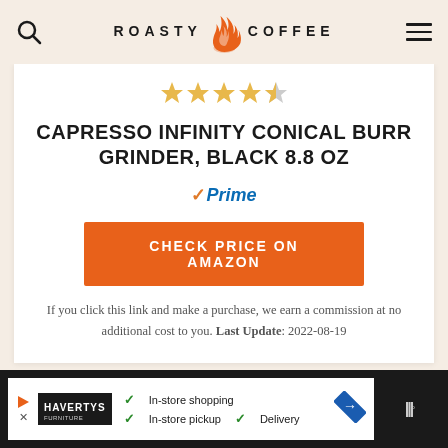ROASTY COFFEE
[Figure (logo): Star rating showing 4.5 out of 5 stars in gold]
CAPRESSO INFINITY CONICAL BURR GRINDER, BLACK 8.8 OZ
[Figure (logo): Amazon Prime checkmark logo badge]
CHECK PRICE ON AMAZON
If you click this link and make a purchase, we earn a commission at no additional cost to you. Last Update: 2022-08-19
[Figure (screenshot): Advertisement bar at bottom showing Havertys furniture ad with In-store shopping, In-store pickup, Delivery checkmarks]